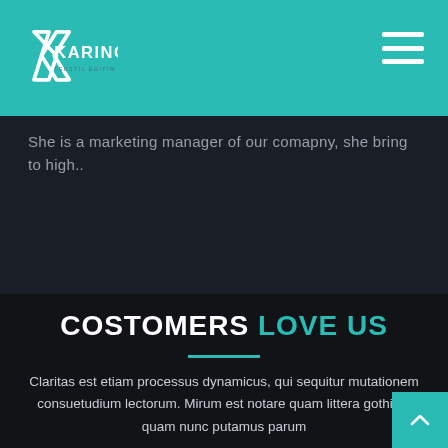KARINCA
She is a marketing manager of our comapny, she bring to high..
COSTOMERS LOVE US
Claritas est etiam processus dynamicus, qui sequitur mutationem consuetudium lectorum. Mirum est notare quam littera gothica, quam nunc putamus parum